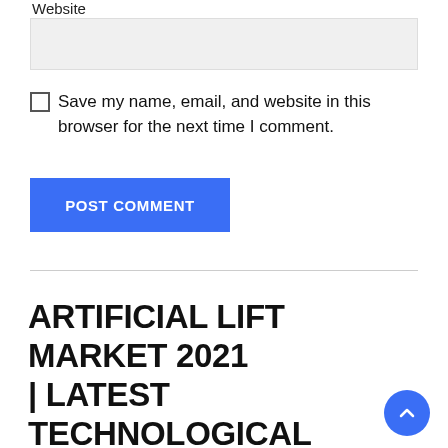Website
Save my name, email, and website in this browser for the next time I comment.
POST COMMENT
ARTIFICIAL LIFT MARKET 2021 | LATEST TECHNOLOGICAL ADVANCEMENT, INDUSTRY